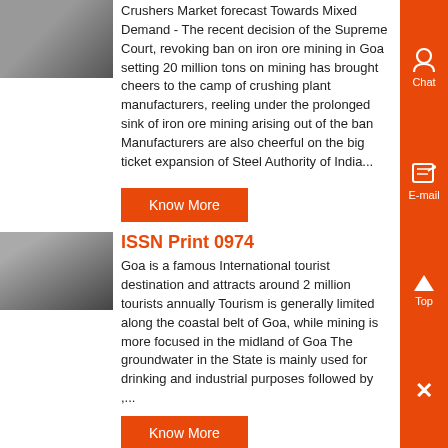[Figure (photo): Partial top image, cropped at top of page]
Crushers Market forecast Towards Mixed Demand - The recent decision of the Supreme Court, revoking ban on iron ore mining in Goa setting 20 million tons on mining has brought cheers to the camp of crushing plant manufacturers, reeling under the prolonged sink of iron ore mining arising out of the ban Manufacturers are also cheerful on the big ticket expansion of Steel Authority of India...
[Figure (photo): Know More button - orange]
[Figure (photo): Industrial equipment photo - crusher/mill machinery]
ISSN Print 0974
Goa is a famous International tourist destination and attracts around 2 million tourists annually Tourism is generally limited along the coastal belt of Goa, while mining is more focused in the midland of Goa The groundwater in the State is mainly used for drinking and industrial purposes followed by ,...
[Figure (photo): Know More button - orange]
[Figure (photo): Industrial/mining facility interior photo]
Report on Mining in Goa EssayDepot
Goa Police Department Police Headquarters Panaji Advertisement Applications in prescribed Form are invited